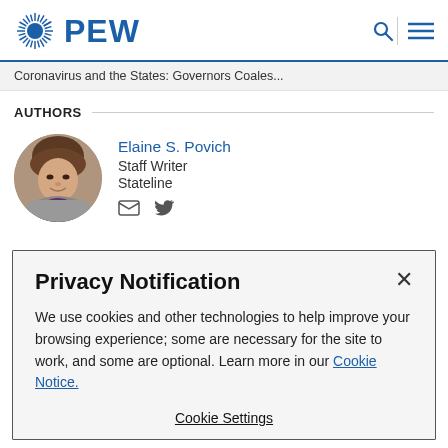PEW
Coronavirus and the States: Governors Coales...
AUTHORS
[Figure (photo): Circular portrait photo of Elaine S. Povich]
Elaine S. Povich
Staff Writer
Stateline
Privacy Notification
We use cookies and other technologies to help improve your browsing experience; some are necessary for the site to work, and some are optional. Learn more in our Cookie Notice.
Cookie Settings